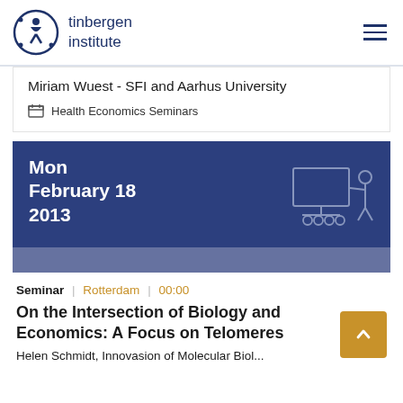[Figure (logo): Tinbergen Institute logo — stylized figure in blue circle with dots]
tinbergen institute
Miriam Wuest - SFI and Aarhus University
Health Economics Seminars
[Figure (illustration): Dark blue date banner showing Mon February 18 2013 with presenter-at-whiteboard icon]
Seminar | Rotterdam | 00:00
On the Intersection of Biology and Economics: A Focus on Telomeres
Helen Schmidt, Innovasion of Molecular Biology...